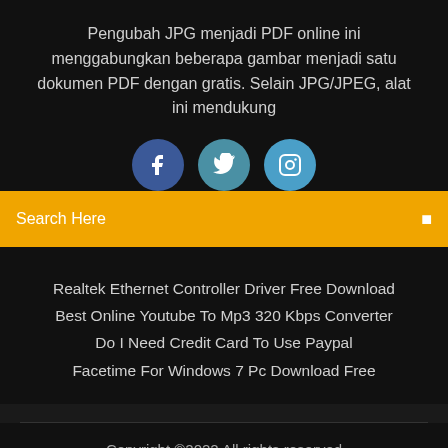Pengubah JPG menjadi PDF online ini menggabungkan beberapa gambar menjadi satu dokumen PDF dengan gratis. Selain JPG/JPEG, alat ini mendukung
[Figure (illustration): Three social media icon circles: Facebook (dark blue), Twitter (teal-blue), Instagram (light blue), partially cut off]
Search Here
Realtek Ethernet Controller Driver Free Download
Best Online Youtube To Mp3 320 Kbps Converter
Do I Need Credit Card To Use Paypal
Facetime For Windows 7 Pc Download Free
Copyright ©2022 All rights reserved